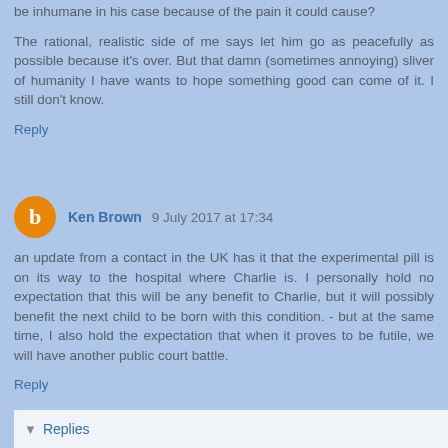be inhumane in his case because of the pain it could cause?
The rational, realistic side of me says let him go as peacefully as possible because it's over. But that damn (sometimes annoying) sliver of humanity I have wants to hope something good can come of it. I still don't know.
Reply
Ken Brown 9 July 2017 at 17:34
an update from a contact in the UK has it that the experimental pill is on its way to the hospital where Charlie is. I personally hold no expectation that this will be any benefit to Charlie, but it will possibly benefit the next child to be born with this condition. - but at the same time, I also hold the expectation that when it proves to be futile, we will have another public court battle.
Reply
Replies